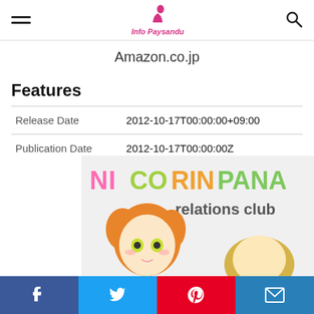Info Paysandu
Amazon.co.jp
Features
|  |  |
| --- | --- |
| Release Date | 2012-10-17T00:00:00+09:00 |
| Publication Date | 2012-10-17T00:00:00Z |
[Figure (illustration): Anime illustration showing two anime characters - a girl with orange hair and a figure with blonde hair, with text 'NICORINPANA relations club' in colorful letters]
Facebook Twitter Pinterest Email social share bar